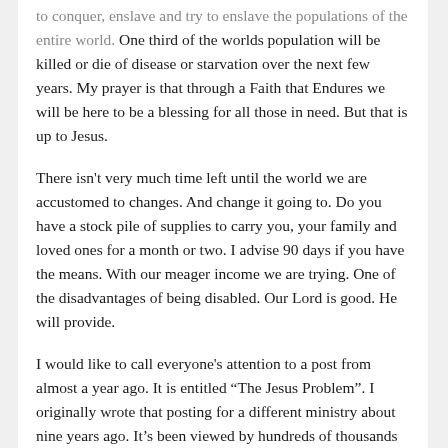to conquer, enslave and try to enslave the populations of the entire world.  One third of the worlds population will be killed or die of disease or starvation over the next few years.  My prayer is that through a Faith that Endures we will be here to be a blessing for all those in need. But that is up to Jesus.
There isn't very much time left until the world we are accustomed to changes. And change it going to. Do you have a stock pile of supplies to carry you, your family and loved ones for a month or two. I advise 90 days if you have the means. With our meager income we are trying. One of the disadvantages of being disabled. Our Lord is good. He will provide.
I would like to call everyone's attention to a post from almost a year ago. It is entitled “The Jesus Problem”. I originally wrote that posting for a different ministry about nine years ago. It’s been viewed by hundreds of thousands of people since. But its message still rings so very true today. There is only one Jesus. There is only one Jesus Christ of the bible. All religions and all teachers that